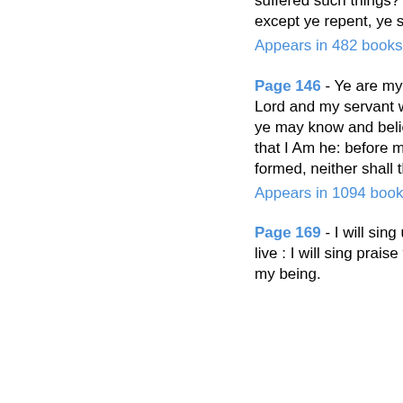suffered such things? 3 I tell you, Nay; but except ye repent, ye shall all likewise perish.
Appears in 482 books from 1755-2008
Page 146 - Ye are my witnesses, saith the Lord and my servant whom I have chosen that ye may know and believe me, and understand that I Am he: before me there was no God formed, neither shall there be after me.
Appears in 1094 books from 1611-2008
Page 169 - I will sing unto the Lord as long as I live : I will sing praise to my God while I have my being.